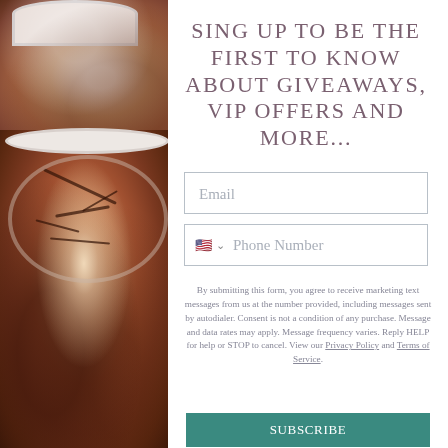[Figure (photo): Photo of chocolate lava cakes or brownies in white ceramic ramekins on a light surface, occupying the left column of the page]
SING UP TO BE THE FIRST TO KNOW ABOUT GIVEAWAYS, VIP OFFERS AND MORE...
Email
Phone Number
By submitting this form, you agree to receive marketing text messages from us at the number provided, including messages sent by autodialer. Consent is not a condition of any purchase. Message and data rates may apply. Message frequency varies. Reply HELP for help or STOP to cancel. View our Privacy Policy and Terms of Service.